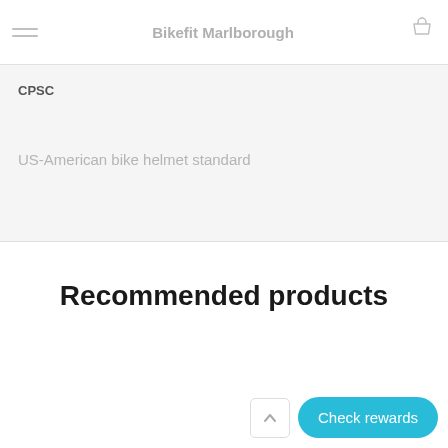Bikefit Marlborough
CPSC
US-American bike helmet standard
Recommended products